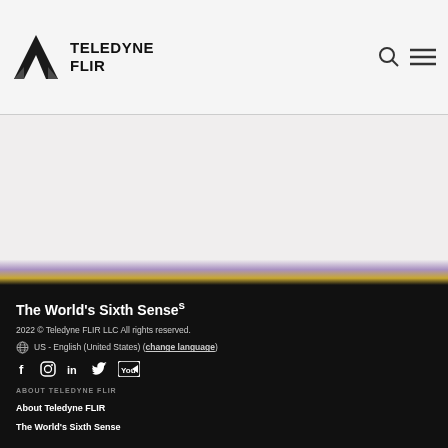TELEDYNE FLIR
The World's Sixth Sense²
2022 © Teledyne FLIR LLC All rights reserved.
US - English (United States) (change language)
[Figure (logo): Social media icons: Facebook, Instagram, LinkedIn, Twitter, YouTube]
ABOUT TELEDYNE FLIR
About Teledyne FLIR
The World's Sixth Sense